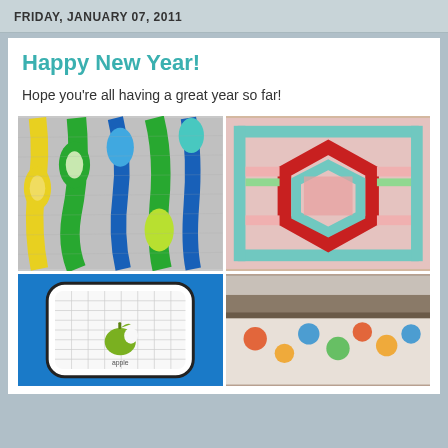FRIDAY, JANUARY 07, 2011
Happy New Year!
Hope you're all having a great year so far!
[Figure (photo): Colorful quilt with yellow, green, and blue curving stripe pattern with oval shapes on gray background]
[Figure (photo): Patchwork quilt with hexagonal star pattern in red, pink, teal and floral fabrics on wood surface]
[Figure (photo): White quilted item with apple logo on bright blue background]
[Figure (photo): Quilt with colorful circular/dot pattern on white background, partially visible]